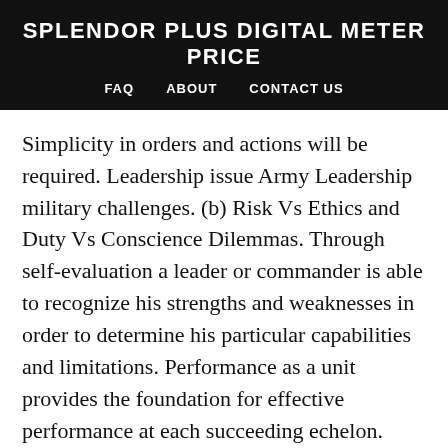SPLENDOR PLUS DIGITAL METER PRICE
FAQ   ABOUT   CONTACT US
Simplicity in orders and actions will be required. Leadership issue Army Leadership military challenges. (b) Risk Vs Ethics and Duty Vs Conscience Dilemmas. Through self-evaluation a leader or commander is able to recognize his strengths and weaknesses in order to determine his particular capabilities and limitations. Performance as a unit provides the foundation for effective performance at each succeeding echelon. They know demonstrating technical and tactical competence inspires confidence. Once HRC